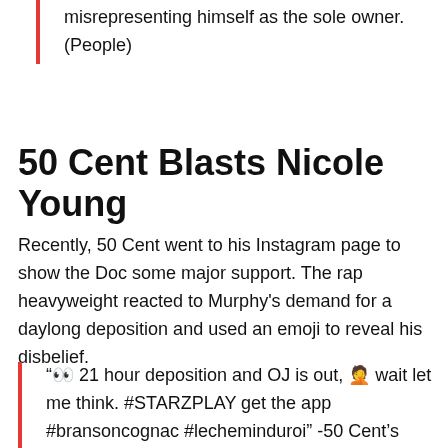misrepresenting himself as the sole owner. (People)
50 Cent Blasts Nicole Young
Recently, 50 Cent went to his Instagram page to show the Doc some major support. The rap heavyweight reacted to Murphy’s demand for a daylong deposition and used an emoji to reveal his disbelief.
“👀 21 hour deposition and OJ is out, 🤦 wait let me think. #STARZPLAY get the app #bransoncognac #lecheminduroi” -50 Cent’s Instagram